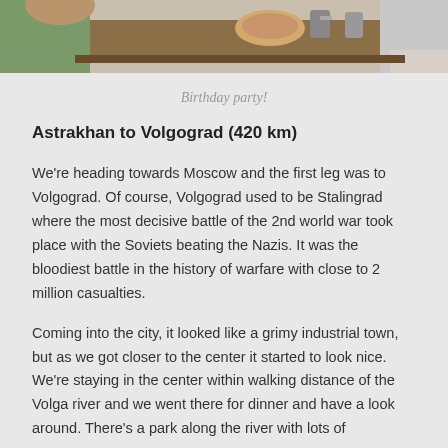[Figure (photo): Top portion of a photo showing people at a table, possibly a birthday party scene. Only the bottom portion of the image is visible.]
Birthday party!
Astrakhan to Volgograd (420 km)
We're heading towards Moscow and the first leg was to Volgograd.  Of course, Volgograd used to be Stalingrad where the most decisive battle of the 2nd world war took place with the Soviets beating the Nazis.  It was the bloodiest battle in the history of warfare with close to 2 million casualties.
Coming into the city, it looked like a grimy industrial town, but as we got closer to the center it started to look nice.  We're staying in the center within walking distance of the Volga river and we went there for dinner and have a look around.  There's a park along the river with lots of